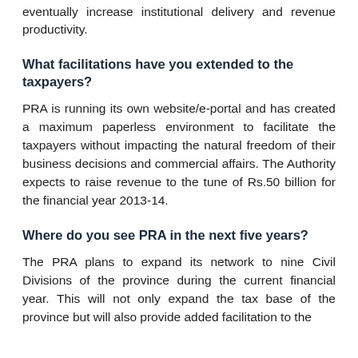eventually increase institutional delivery and revenue productivity.
What facilitations have you extended to the taxpayers?
PRA is running its own website/e-portal and has created a maximum paperless environment to facilitate the taxpayers without impacting the natural freedom of their business decisions and commercial affairs. The Authority expects to raise revenue to the tune of Rs.50 billion for the financial year 2013-14.
Where do you see PRA in the next five years?
The PRA plans to expand its network to nine Civil Divisions of the province during the current financial year. This will not only expand the tax base of the province but will also provide added facilitation to the